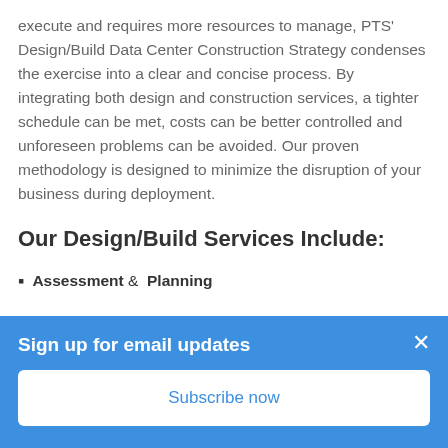execute and requires more resources to manage, PTS' Design/Build Data Center Construction Strategy condenses the exercise into a clear and concise process. By integrating both design and construction services, a tighter schedule can be met, costs can be better controlled and unforeseen problems can be avoided. Our proven methodology is designed to minimize the disruption of your business during deployment.
Our Design/Build Services Include:
Assessment &  Planning
Sign up for email updates
Subscribe now